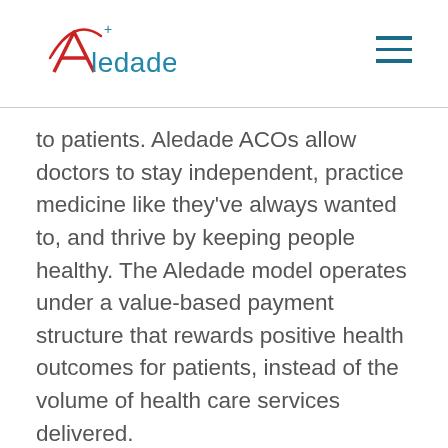Aledade
to patients. Aledade ACOs allow doctors to stay independent, practice medicine like they’ve always wanted to, and thrive by keeping people healthy. The Aledade model operates under a value-based payment structure that rewards positive health outcomes for patients, instead of the volume of health care services delivered.
“Aledade is proud to help a local health care leader in Gateway Medical Associates deliver high-quality care to their